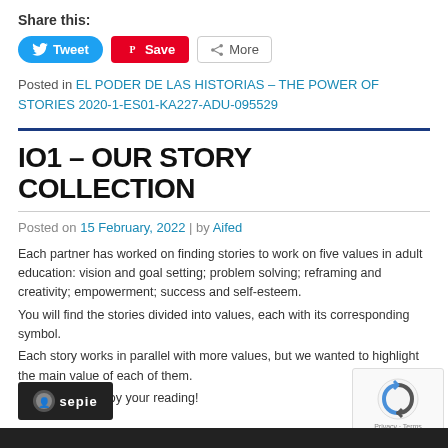Share this:
[Figure (screenshot): Social sharing buttons: Tweet (blue), Save (red Pinterest), More (grey)]
Posted in EL PODER DE LAS HISTORIAS – THE POWER OF STORIES 2020-1-ES01-KA227-ADU-095529
IO1 – OUR STORY COLLECTION
Posted on 15 February, 2022 | by Aifed
Each partner has worked on finding stories to work on five values in adult education: vision and goal setting; problem solving; reframing and creativity; empowerment; success and self-esteem.
You will find the stories divided into values, each with its corresponding symbol.
Each story works in parallel with more values, but we wanted to highlight the main value of each of them.
We wish you enjoy your reading!
[Figure (logo): Sepie logo banner at bottom left]
[Figure (other): Google reCAPTCHA widget at bottom right with Privacy and Terms links]